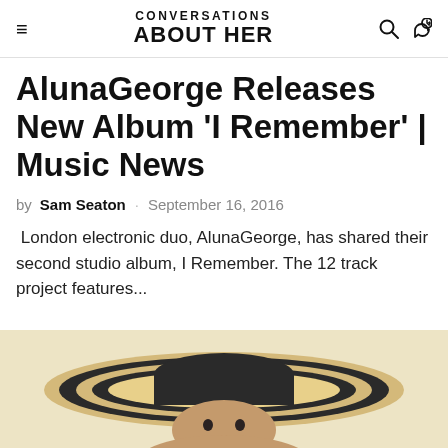CONVERSATIONS ABOUT HER
AlunaGeorge Releases New Album 'I Remember' | Music News
by Sam Seaton · September 16, 2016
London electronic duo, AlunaGeorge, has shared their second studio album, I Remember. The 12 track project features...
[Figure (photo): Woman wearing a large wide-brimmed striped hat, cropped at bottom of page]